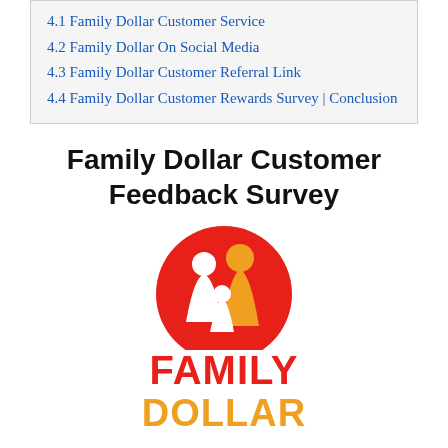4.1 Family Dollar Customer Service
4.2 Family Dollar On Social Media
4.3 Family Dollar Customer Referral Link
4.4 Family Dollar Customer Rewards Survey | Conclusion
Family Dollar Customer Feedback Survey
[Figure (logo): Family Dollar logo: red circle with white and orange family silhouettes, red bold text FAMILY and orange bold text DOLLAR below]